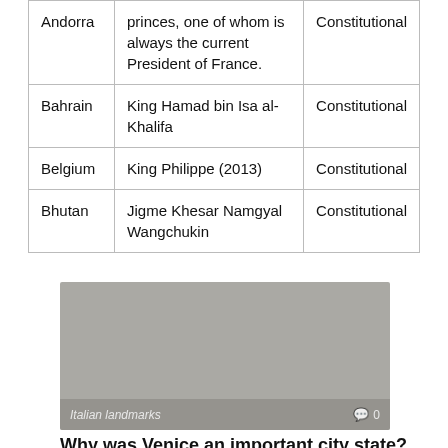| Andorra | princes, one of whom is always the current President of France. | Constitutional |
| Bahrain | King Hamad bin Isa al-Khalifa | Constitutional |
| Belgium | King Philippe (2013) | Constitutional |
| Bhutan | Jigme Khesar Namgyal Wangchukin | Constitutional |
[Figure (photo): Gray placeholder image for Italian landmarks article with comment count 0]
Why was Venice an important city state?